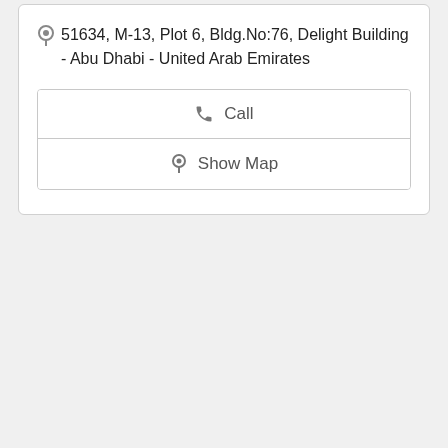51634, M-13, Plot 6, Bldg.No:76, Delight Building - Abu Dhabi - United Arab Emirates
Call
Show Map